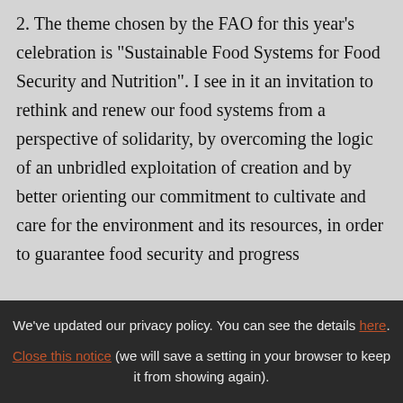2. The theme chosen by the FAO for this year's celebration is "Sustainable Food Systems for Food Security and Nutrition". I see in it an invitation to rethink and renew our food systems from a perspective of solidarity, by overcoming the logic of an unbridled exploitation of creation and by better orienting our commitment to cultivate and care for the environment and its resources, in order to guarantee food security and progress
We've updated our privacy policy. You can see the details here. Close this notice (we will save a setting in your browser to keep it from showing again).